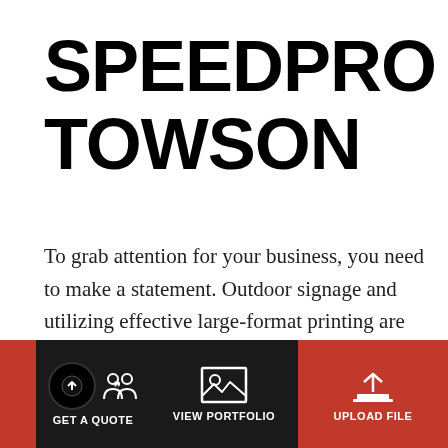SPEEDPRO TOWSON
To grab attention for your business, you need to make a statement. Outdoor signage and utilizing effective large-format printing are some of the most effective tools available to you.
Located in the heart of the I-83 Corridor, SpeedPro
[Figure (infographic): Bottom navigation bar with three buttons: GET A QUOTE (dark background with circular up-arrow icon and two-person icon), VIEW PORTFOLIO (dark background with image/landscape icon), UPLOAD FILE (red background with upload arrow icon). Left portion of GET A QUOTE is also red.]